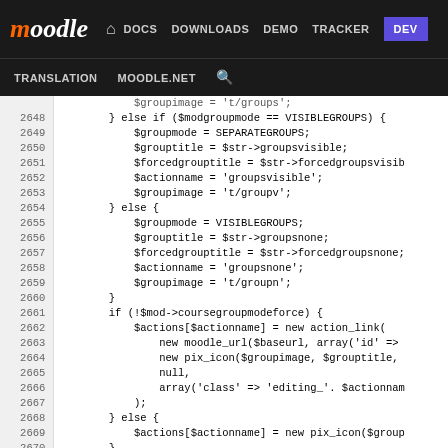moodle | DOCS DOWNLOADS DEMO TRACKER DEV | TRANSLATION MOODLE.NET
[Figure (screenshot): Moodle developer documentation site header navigation bar with logo, nav links (DOCS, DOWNLOADS, DEMO, TRACKER, DEV), and second row (TRANSLATION, MOODLE.NET, search icon)]
PHP source code lines 2648-2673 showing group mode logic with VISIBLEGROUPS, SEPARATEGROUPS constants, $groupmode, $grouptitle, $forcedgrouptitle, $actionname, $groupimage variables, and action_link/pix_icon function calls